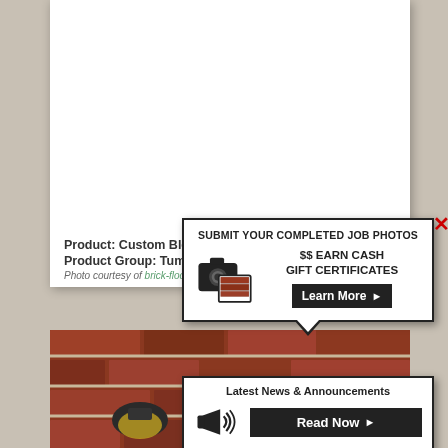[Figure (photo): Close-up photo of a black iron pipe fitting mounted on a red brick wall, with a black metal pipe extending to the right.]
Product: Custom Blend B/W
Product Group: Tumble
Photo courtesy of brick-floor-tile.com
[Figure (infographic): Popup advertisement: SUBMIT YOUR COMPLETED JOB PHOTOS - $$ EARN CASH GIFT CERTIFICATES - Learn More button. Has a close X button in red.]
[Figure (infographic): Popup: Latest News & Announcements - Read Now button with megaphone icon.]
[Figure (photo): Bottom photo showing brick wall with industrial light fixtures with glass globe shades.]